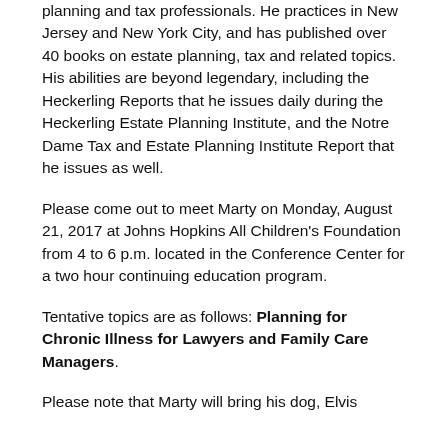planning and tax professionals. He practices in New Jersey and New York City, and has published over 40 books on estate planning, tax and related topics. His abilities are beyond legendary, including the Heckerling Reports that he issues daily during the Heckerling Estate Planning Institute, and the Notre Dame Tax and Estate Planning Institute Report that he issues as well.
Please come out to meet Marty on Monday, August 21, 2017 at Johns Hopkins All Children's Foundation from 4 to 6 p.m. located in the Conference Center for a two hour continuing education program.
Tentative topics are as follows: Planning for Chronic Illness for Lawyers and Family Care Managers.
Please note that Marty will bring his dog, Elvis